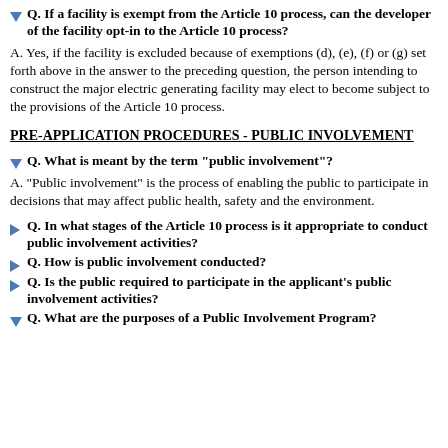Q. If a facility is exempt from the Article 10 process, can the developer of the facility opt-in to the Article 10 process?
A. Yes, if the facility is excluded because of exemptions (d), (e), (f) or (g) set forth above in the answer to the preceding question, the person intending to construct the major electric generating facility may elect to become subject to the provisions of the Article 10 process.
PRE-APPLICATION PROCEDURES - PUBLIC INVOLVEMENT
Q. What is meant by the term "public involvement"?
A. "Public involvement" is the process of enabling the public to participate in decisions that may affect public health, safety and the environment.
Q. In what stages of the Article 10 process is it appropriate to conduct public involvement activities?
Q. How is public involvement conducted?
Q. Is the public required to participate in the applicant's public involvement activities?
Q. What are the purposes of a Public Involvement Program?